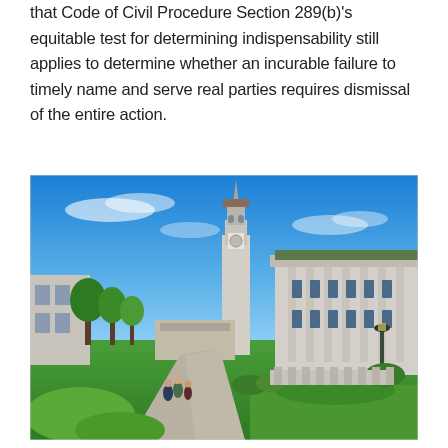that Code of Civil Procedure Section 289(b)'s equitable test for determining indispensability still applies to determine whether an incurable failure to timely name and serve real parties requires dismissal of the entire action.
[Figure (photo): Outdoor campus photo showing a bell tower (Sather Tower/Campanile) at UC Berkeley, a classical neoclassical building on the right, a winding path with people walking, green lawns, trees, and a bright blue sky.]